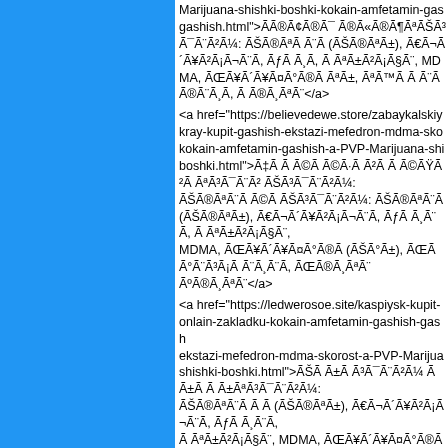...Marijuana-shishki-boshki-kokain-amfetamin-gashish.html">ÃÃ®Ã¢Ã®Ã¯Ã®Ã«Ã®Ã¶ÃªÃŠÃ³Ã¯Ã¨Ã²Ã¼: ÃŠÃ®ÃªÃ°Ã¨Ã (ÃŠÃ®ÃªÃ±), Ã€Ã¬Ã´Ã¥Ã²Ã¡Ã¬Ã¨Ã, ÃƒÃ Ã¸Ã, ÃÃªÃ±Ã²Ã¡Ã§Ã¨, MDMA, ÃŒÃ¥Ã´Ã¥Ã¤Ã°Ã®Ã (ÃŠÃ°Ã±), ÃŒÃ Ã°Ã¨Ã³Ã¡Ã Ã Ã¨Ã¸Ã¨Ã, ÃŒÃ®Ã¸ÃªÃ¨</a>
<a href="https://believedewe.store/zabaykalskiy-kray-kupit-gashish-ekstazi-mefedron-mdma-skorost-kokain-amfetamin-gashish-a-PVP-Marijuana-shishki-boshki.html">Ã‡Ã ÃÃ©Ã Ã«Ã¼Ã±ÃªÃ¨Ã©ÃªÃ°Ã¡Ã©ÃªÃ³Ã¯Ã¨Ã²ÃŠÃ³Ã¯Ã¨Ã²Ã¼: ÃŠÃ®ÃªÃ¨Ã (ÃŠÃ®ÃªÃ±), Ã€Ã¬Ã´Ã¥Ã²Ã¡Ã¬Ã¨Ã, ÃƒÃ Ã¸Ã¨Ã, ÃÃªÃ±Ã²Ã¡Ã§Ã¨, MDMA, ÃŒÃ¥Ã´Ã¥Ã¤Ã°Ã®Ã (ÃŠÃ°Ã±), ÃŒÃ Ã°Ã¨Ã³Ã¡Ã Ã Ã¨Ã¸Ã¨Ã, ÃŒÃ®Ã¸ÃªÃ¨</a>
<a href="https://ledwerosoe.site/kaspiysk-kupit-onlain-zakladku-kokain-amfetamin-gashish-gash-ekstazi-mefedron-mdma-skorost-a-PVP-Marijuana-shishki-boshki.html">ÃŠÃ Ã±Ã¯Ã¨Ã©Ã±ÃªÃ³Ã¯Ã¨Ã²Ã¼: ÃŠÃ®ÃªÃ¨Ã (ÃŠÃ®ÃªÃ±), Ã€Ã¬Ã´Ã¥Ã²Ã¡Ã¬Ã¨Ã, ÃƒÃ Ã¸Ã¨Ã, ÃÃªÃ±Ã²Ã¡Ã§Ã¨, MDMA, ÃŒÃ¥Ã´Ã¥Ã¤Ã°Ã®Ã (ÃŠÃ°Ã±), ÃŒÃ Ã°Ã¨Ã³Ã¡Ã Ã Ã¨Ã¸Ã¨Ã, ÃŒÃ®Ã¸Ã ÃªÃ¨</a>